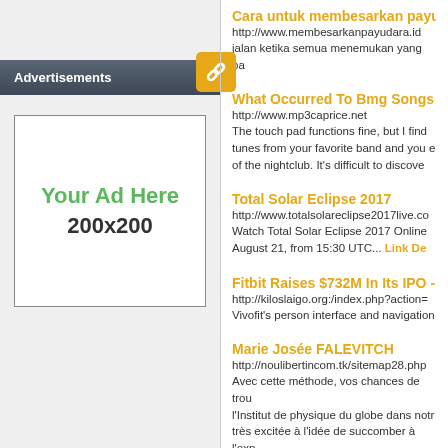[Figure (other): Advertisements panel with 'Your Ad Here 200x200' placeholder ad and a link icon on the header]
Cara untuk membesarkan payuda
http://www.membesarkanpayudara.id
jalan ketika semua menemukan yang ba
What Occurred To Bmg Songs Ser
http://www.mp3caprice.net
The touch pad functions fine, but I find tunes from your favorite band and you e of the nightclub. It's difficult to discove
Total Solar Eclipse 2017
http://www.totalsolareclipse2017live.co
Watch Total Solar Eclipse 2017 Online August 21, from 15:30 UTC... Link De
Fitbit Raises $732M In Its IPO - $3
http://kiloslaigo.org:/index.php?action=
Vivofit's person interface and navigation
Marie Josée FALEVITCH
http://noulibertincom.tk/sitemap28.php
Avec cette méthode, vos chances de trou l'Institut de physique du globe dans notr très excitée à l'idée de succomber à l'exp